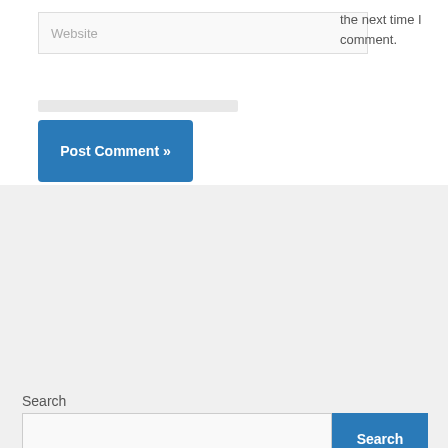Website
the next time I comment.
Post Comment »
Search
Search
Recent Posts
10 ways for seniors to keep busy – Royal Examiner
Rage fuels the rugby machine
Golden Rocket Takes Off at NYSSS Statue of Liberty Win